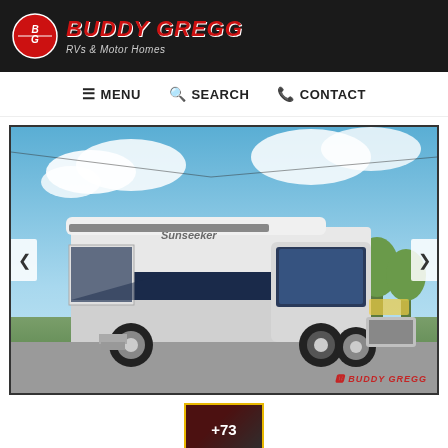[Figure (logo): Buddy Gregg RVs & Motor Homes logo on dark background]
MENU   SEARCH   CONTACT
[Figure (photo): White motorhome / Class C RV (Sunseeker) parked in lot with blue sky and green trees in background. Buddy Gregg watermark in lower right.]
[Figure (photo): Thumbnail image with +73 overlay indicator for additional photos]